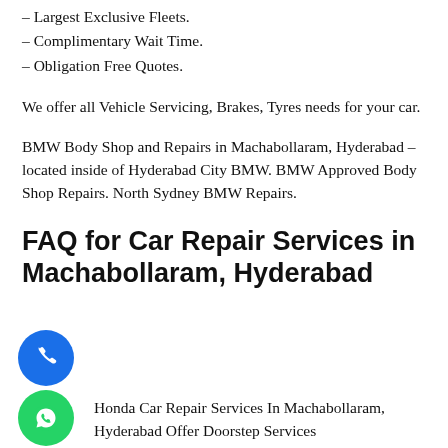– Largest Exclusive Fleets.
– Complimentary Wait Time.
– Obligation Free Quotes.
We offer all Vehicle Servicing, Brakes, Tyres needs for your car.
BMW Body Shop and Repairs in Machabollaram, Hyderabad – located inside of Hyderabad City BMW. BMW Approved Body Shop Repairs. North Sydney BMW Repairs.
FAQ for Car Repair Services in Machabollaram, Hyderabad
Honda Car Repair Services In Machabollaram, Hyderabad Offer Doorstep Services